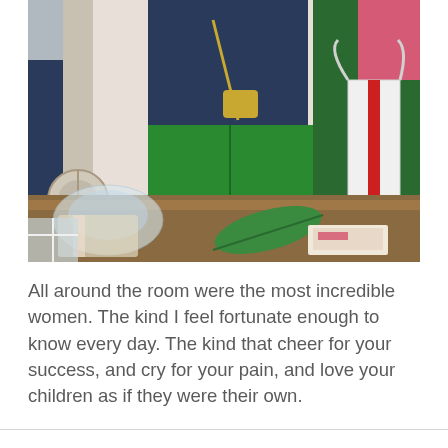[Figure (photo): A photo showing people at a gathering. The central figure wears bright green pants and a navy blue top with a gold crossbody bag. On the right side is a person in green carrying a white and red bag. In the foreground is a table with various items including wrapped gifts or packages, papers, and a tropical-leaf decoration.]
All around the room were the most incredible women. The kind I feel fortunate enough to know every day. The kind that cheer for your success, and cry for your pain, and love your children as if they were their own.